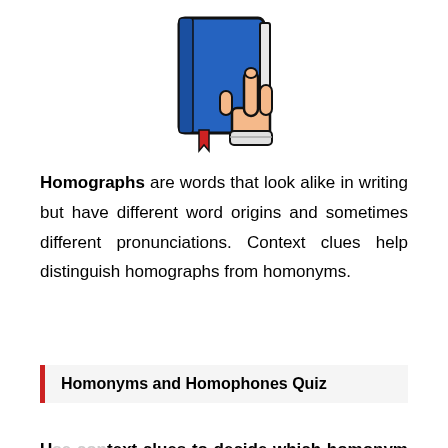[Figure (illustration): Illustration of a blue book with a bookmark and a hand pointing at it with an index finger cursor]
Homographs are words that look alike in writing but have different word origins and sometimes different pronunciations. Context clues help distinguish homographs from homonyms.
Homonyms and Homophones Quiz
Use context clues to decide which homonym or homophone belongs in each sentence below. Use a dictionary if you need help.